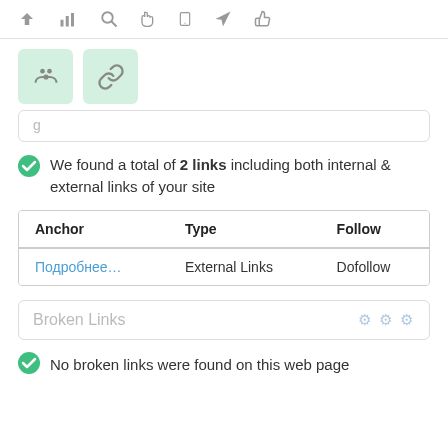[Figure (screenshot): Toolbar with navigation icons: up arrow, bar chart, search, cursor hand, mobile, send, thumbs up]
[Figure (screenshot): Two green square icon buttons: groups/people icon and chain-link icon]
We found a total of 2 links including both internal & external links of your site
| Anchor | Type | Follow |
| --- | --- | --- |
| Подробнее… | External Links | Dofollow |
Broken Links
No broken links were found on this web page